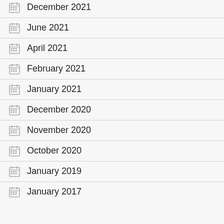December 2021
June 2021
April 2021
February 2021
January 2021
December 2020
November 2020
October 2020
January 2019
January 2017